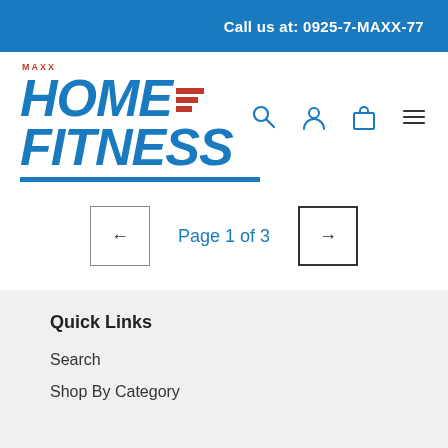Call us at: 0925-7-MAXX-77
[Figure (logo): MAXX Home Fitness logo with bold blue italic text and red stripe accent, with blue underline]
[Figure (infographic): Navigation icons: search magnifier, user account, shopping bag, hamburger menu]
Page 1 of 3
Quick Links
Search
Shop By Category